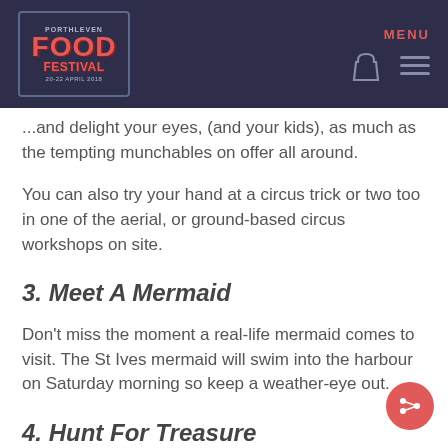Porthleven Food Festival — MENU
...and delight your eyes, (and your kids), as much as the tempting munchables on offer all around.
You can also try your hand at a circus trick or two too in one of the aerial, or ground-based circus workshops on site.
3. Meet A Mermaid
Don't miss the moment a real-life mermaid comes to visit. The St Ives mermaid will swim into the harbour on Saturday morning so keep a weather-eye out.
4. Hunt For Treasure
The shops on Fore Street are holding a treasure